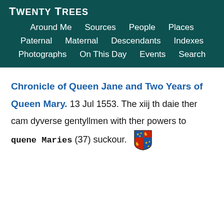Twenty Trees
Around Me  Sources  People  Places  Paternal  Maternal  Descendants  Indexes  Photographs  On This Day  Events  Search
Chronicle of Queen Jane and Two Years of Queen Mary. 13 Jul 1553. The xiij th daie ther cam dyverse gentyllmen with ther powers to quene Maries (37) suckour.